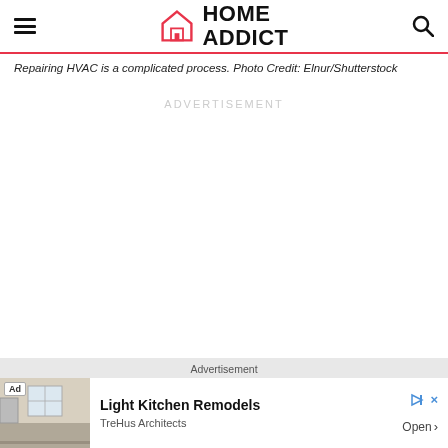HOME ADDICT
Repairing HVAC is a complicated process. Photo Credit: Elnur/Shutterstock
ADVERTISEMENT
Advertisement
[Figure (screenshot): Ad banner: Light Kitchen Remodels by TreHus Architects with room photo, Open button, and ad controls]